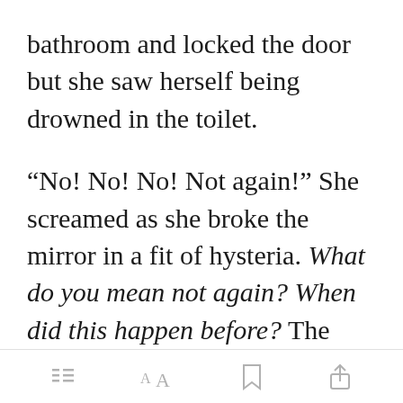bathroom and locked the door but she saw herself being drowned in the toilet.
“No! No! No! Not again!” She screamed as she broke the mirror in a fit of hysteria. What do you mean not again? When did this happen before? The thought only briefly passed through her mind when the instinct to run [Open in app] er again. Can’t
[Figure (screenshot): App toolbar at the bottom with menu, font size, bookmark, and share icons]